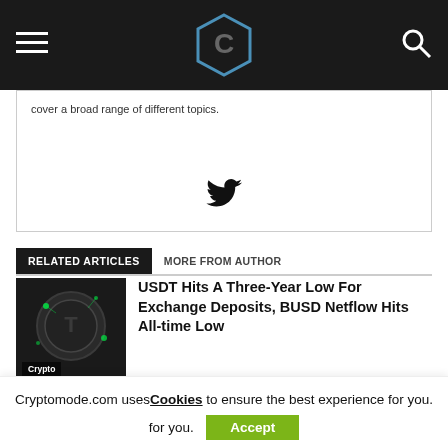Cryptomode logo header bar with hamburger menu and search icon
cover a broad range of different topics.
[Figure (illustration): Twitter bird icon]
RELATED ARTICLES | MORE FROM AUTHOR
[Figure (photo): Crypto coin with green circuit lights and 'Crypto' label overlay]
USDT Hits A Three-Year Low For Exchange Deposits, BUSD Netflow Hits All-time Low
[Figure (photo): Blue digital trading interface with hand pointing]
How To Automate Crypto Trading And Amplify Profits
Cryptomode.com uses Cookies to ensure the best experience for you.